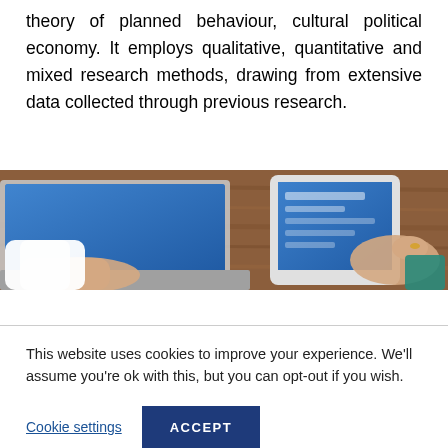theory of planned behaviour, cultural political economy. It employs qualitative, quantitative and mixed research methods, drawing from extensive data collected through previous research.
[Figure (photo): Overhead view of a person working at a laptop on a wooden desk, with a tablet device displaying a blue screen nearby and another person's hand visible on the right side of the image.]
This website uses cookies to improve your experience. We'll assume you're ok with this, but you can opt-out if you wish.
Cookie settings  ACCEPT